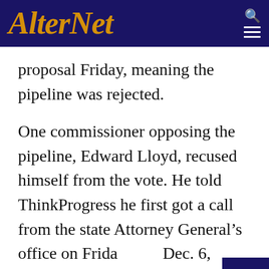AlterNet
proposal Friday, meaning the pipeline was rejected.
One commissioner opposing the pipeline, Edward Lloyd, recused himself from the vote. He told ThinkProgress he first got a call from the state Attorney General's office on Friday, Dec. 6, informing him that an organization he is the co-director of, the Eastern Environmental Law Center, had written a letter to the Pinelands Commission asking for another public hearing on the pipeline, and that